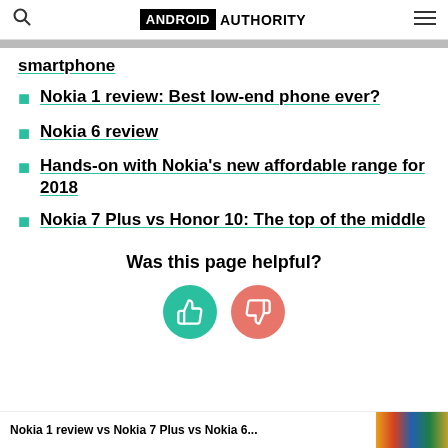ANDROID AUTHORITY
smartphone
Nokia 1 review: Best low-end phone ever?
Nokia 6 review
Hands-on with Nokia's new affordable range for 2018
Nokia 7 Plus vs Honor 10: The top of the middle
Was this page helpful?
[Figure (infographic): Thumbs up (green) and thumbs down (red/salmon) feedback buttons]
Nokia 1 review vs Nokia 7 Plus vs Nokia 6...